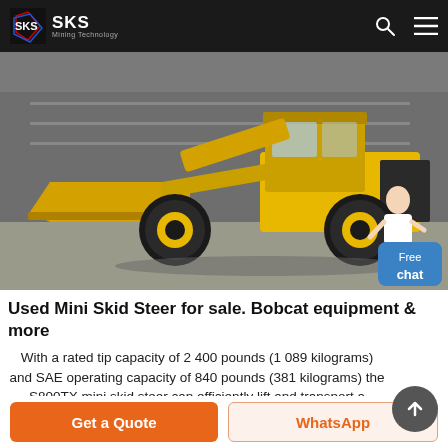SKS Mining Technology
[Figure (photo): Yellow mini skid steer / wheel loader machine parked on a concrete surface in front of a grey industrial building. The machine has a front bucket attachment and large black rubber tires.]
Used Mini Skid Steer for sale. Bobcat equipment & more
With a rated tip capacity of 2 400 pounds (1 089 kilograms) and SAE operating capacity of 840 pounds (381 kilograms) the S800TX mini skid steer can efficiently lift and transport a
Get a Quote  WhatsApp